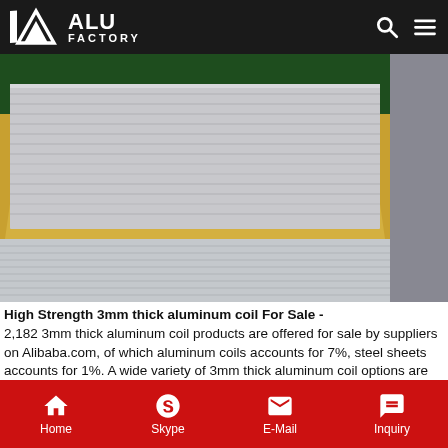ALU FACTORY
[Figure (photo): Aluminum coil sheets stacked and packaged with gold/yellow protective paper, showing metallic silver surface with striations, in a warehouse setting]
High Strength 3mm thick aluminum coil For Sale -
2,182 3mm thick aluminum coil products are offered for sale by suppliers on Alibaba.com, of which aluminum coils accounts for 7%, steel sheets accounts for 1%. A wide variety of 3mm thick aluminum coil options are available to you, such as o - h112, t3 - t8. You can also choose from bending, cutting, and punching 3mm thick aluminum coil, as
Get Price
Home  Skype  E-Mail  Inquiry